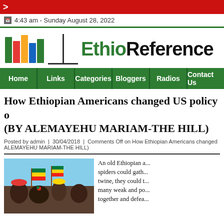>
4:43 am - Sunday August 28, 2022
[Figure (logo): EthioReference logo with colorful books on a stand and green/black text]
Home | Links | Categories | Bloggers | Radios | Contact Us
How Ethiopian Americans changed US policy o... (BY ALEMAYEHU MARIAM-THE HILL)
Posted by admin | 30/04/2018 | Comments Off on How Ethiopian Americans changed... ALEMAYEHU MARIAM-THE HILL)
[Figure (photo): People celebrating with Ethiopian flags, wearing colorful hats]
An old Ethiopian a... spiders could gath... twine, they could t... many weak and po... together and defea...